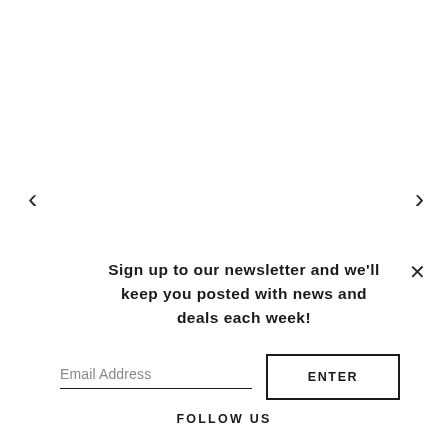<
>
×
Sign up to our newsletter and we'll keep you posted with news and deals each week!
Email Address
ENTER
FOLLOW US